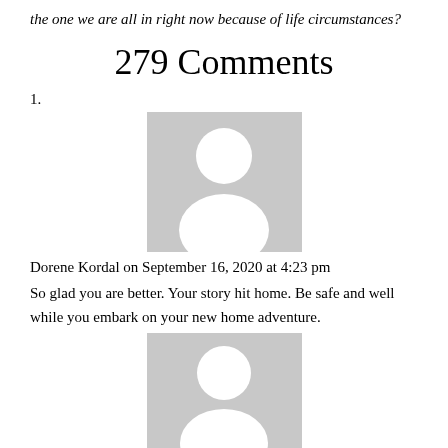the one we are all in right now because of life circumstances?
279 Comments
1.
[Figure (illustration): Gray placeholder avatar image with silhouette of a person, first comment]
Dorene Kordal on September 16, 2020 at 4:23 pm
So glad you are better. Your story hit home. Be safe and well while you embark on your new home adventure.
[Figure (illustration): Gray placeholder avatar image with silhouette of a person, second comment]
Miss Sunday Martin on September 18,